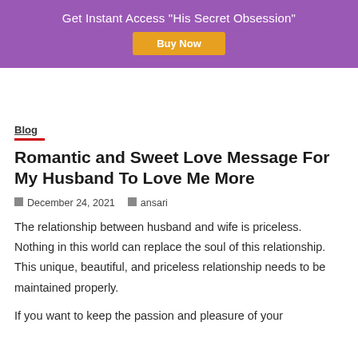Get Instant Access "His Secret Obsession"
Buy Now
Blog
Romantic and Sweet Love Message For My Husband To Love Me More
December 24, 2021   ansari
The relationship between husband and wife is priceless. Nothing in this world can replace the soul of this relationship. This unique, beautiful, and priceless relationship needs to be maintained properly.
If you want to keep the passion and pleasure of your